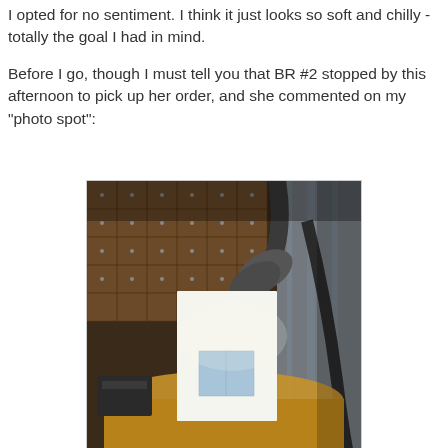I opted for no sentiment. I think it just looks so soft and chilly - totally the goal I had in mind.

Before I go, though I must tell you that BR #2 stopped by this afternoon to pick up her order, and she commented on my "photo spot":
[Figure (photo): A desk lamp arched over a white paper backdrop on a wooden table, with a small blue greeting card propped against the paper. Background shows wooden furniture drawers and curtains in a dim room.]